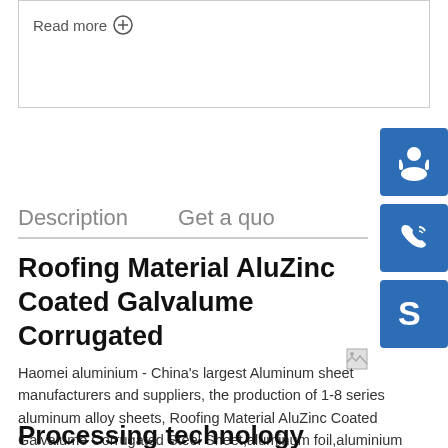Read more ⊕
Description
Get a quo
Roofing Material AluZinc Coated Galvalume Corrugated
Haomei aluminium - China's largest Aluminum sheet manufacturers and suppliers, the production of 1-8 series aluminum alloy sheets, Roofing Material AluZinc Coated Galvalume Corrugated Steel Sheet,aluminum foil,aluminium coil,aluminium discs/slug/circle
Processing technology
[Figure (illustration): Blue customer support icon with headset silhouette]
[Figure (illustration): Blue phone/call icon]
[Figure (illustration): Blue Skype icon]